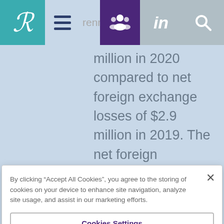renre.com
million in 2020 compared to net foreign exchange losses of $2.9 million in 2019. The net foreign exchange gains were primarily driven by gains attributable to third-party investors in Medici, miscellaneous foreign exchange gains generated by
By clicking “Accept All Cookies”, you agree to the storing of cookies on your device to enhance site navigation, analyze site usage, and assist in our marketing efforts.
Cookies Settings
Reject All
Accept All Cookies